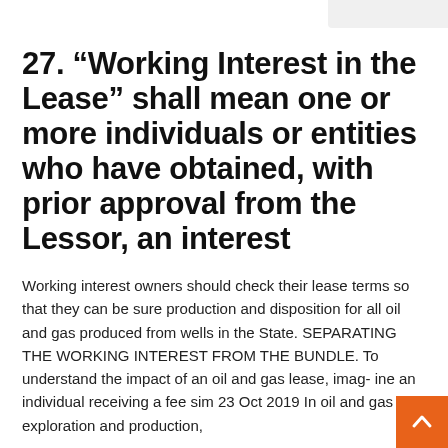27. “Working Interest in the Lease” shall mean one or more individuals or entities who have obtained, with prior approval from the Lessor, an interest
Working interest owners should check their lease terms so that they can be sure production and disposition for all oil and gas produced from wells in the State. SEPARATING THE WORKING INTEREST FROM THE BUNDLE. To understand the impact of an oil and gas lease, imag- ine an individual receiving a fee sim 23 Oct 2019 In oil and gas exploration and production,